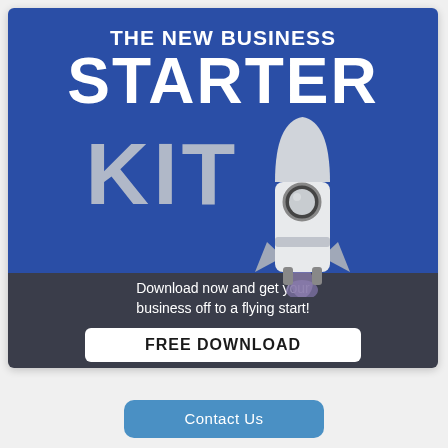THE NEW BUSINESS STARTER KIT
Download now and get your business off to a flying start!
FREE DOWNLOAD
[Figure (illustration): Rocket ship illustration with white body, grey accents, porthole window, and blue/purple exhaust flame]
Contact Us